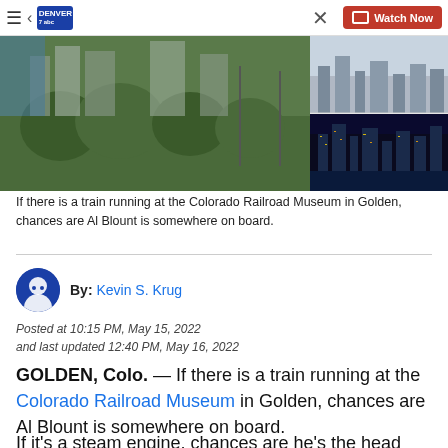Denver7 ABC — Watch Now
[Figure (photo): Hero image collage: main image of a city park with green trees and buildings, top-right inset of a daytime city skyline, bottom-right inset of a city skyline at night.]
If there is a train running at the Colorado Railroad Museum in Golden, chances are Al Blount is somewhere on board.
By: Kevin S. Krug
Posted at 10:15 PM, May 15, 2022 and last updated 12:40 PM, May 16, 2022
GOLDEN, Colo. — If there is a train running at the Colorado Railroad Museum in Golden, chances are Al Blount is somewhere on board.
If it's a steam engine, chances are he's the head conductor. If it's a diesel engine, he's likely the head